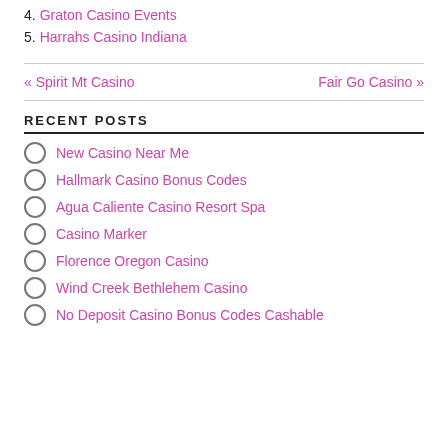4. Graton Casino Events
5. Harrahs Casino Indiana
« Spirit Mt Casino    Fair Go Casino »
RECENT POSTS
New Casino Near Me
Hallmark Casino Bonus Codes
Agua Caliente Casino Resort Spa
Casino Marker
Florence Oregon Casino
Wind Creek Bethlehem Casino
No Deposit Casino Bonus Codes Cashable